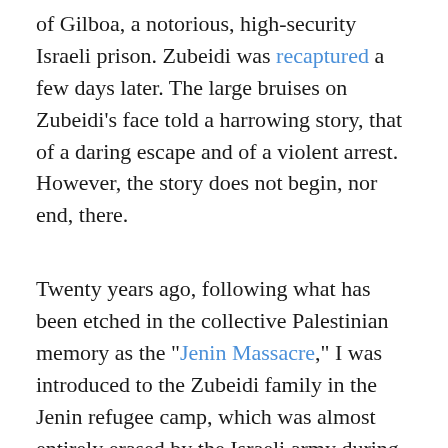of Gilboa, a notorious, high-security Israeli prison. Zubeidi was recaptured a few days later. The large bruises on Zubeidi's face told a harrowing story, that of a daring escape and of a violent arrest. However, the story does not begin, nor end, there.
Twenty years ago, following what has been etched in the collective Palestinian memory as the "Jenin Massacre," I was introduced to the Zubeidi family in the Jenin refugee camp, which was almost entirely erased by the Israeli army during and following the Jenin battle.
Despite my repeated attempts, the Israeli army